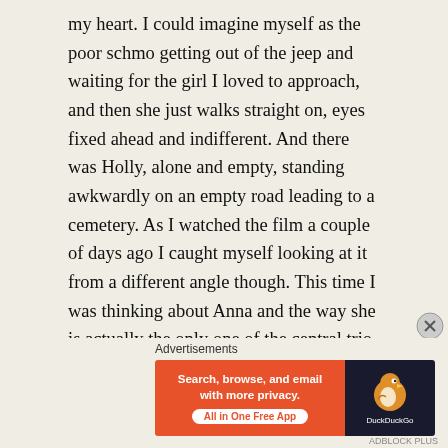my heart. I could imagine myself as the poor schmo getting out of the jeep and waiting for the girl I loved to approach, and then she just walks straight on, eyes fixed ahead and indifferent. And there was Holly, alone and empty, standing awkwardly on an empty road leading to a cemetery. As I watched the film a couple of days ago I caught myself looking at it from a different angle though. This time I was thinking about Anna and the way she is actually the only one of the central trio who displays honor and true integrity. She's come to understand that her love for Harry was misplaced, even wasted, yet that realization doesn't invalidate its truth. It was her loyalty right to the bitter end, her implacable refusal to betray her love, both the man and the ideal, that impressed me
Advertisements
[Figure (infographic): DuckDuckGo advertisement banner with orange left section reading 'Search, browse, and email with more privacy. All in One Free App' and dark right section with DuckDuckGo duck logo and brand name.]